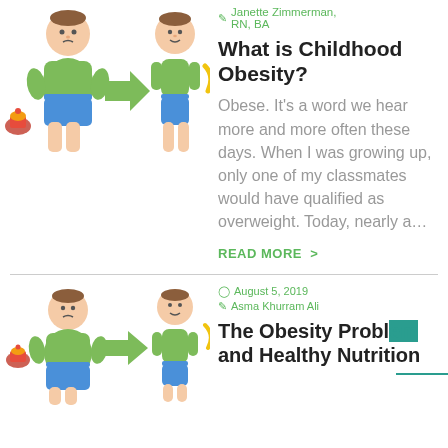[Figure (illustration): Two cartoon boy figures showing weight loss transformation with a green arrow between them, and food/fruit icons on the sides]
Janette Zimmerman, RN, BA
What is Childhood Obesity?
Obese. It's a word we hear more and more often these days. When I was growing up, only one of my classmates would have qualified as overweight. Today, nearly a…
READ MORE >
[Figure (illustration): Two cartoon boy figures showing weight loss transformation with a green arrow between them, and food icons on the sides]
August 5, 2019
Asma Khurram Ali
The Obesity Problem and Healthy Nutrition